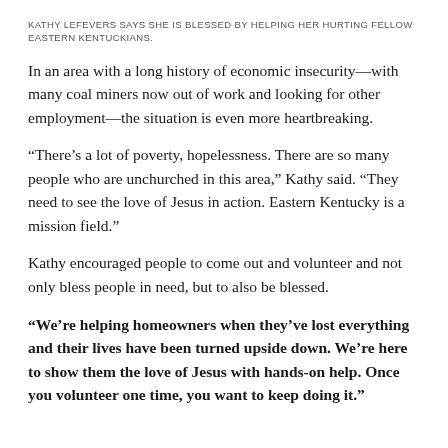KATHY LEFEVERS SAYS SHE IS BLESSED BY HELPING HER HURTING FELLOW EASTERN KENTUCKIANS.
In an area with a long history of economic insecurity—with many coal miners now out of work and looking for other employment—the situation is even more heartbreaking.
“There’s a lot of poverty, hopelessness. There are so many people who are unchurched in this area,” Kathy said. “They need to see the love of Jesus in action. Eastern Kentucky is a mission field.”
Kathy encouraged people to come out and volunteer and not only bless people in need, but to also be blessed.
“We’re helping homeowners when they’ve lost everything and their lives have been turned upside down. We’re here to show them the love of Jesus with hands-on help. Once you volunteer one time, you want to keep doing it.”